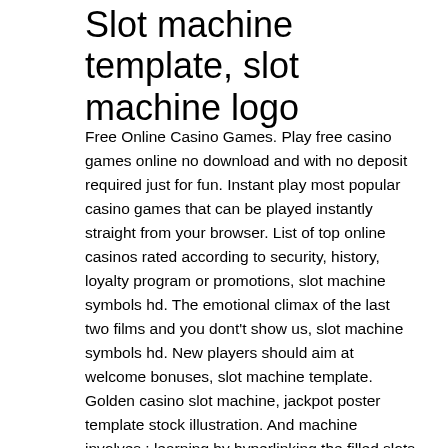Slot machine template, slot machine logo
Free Online Casino Games. Play free casino games online no download and with no deposit required just for fun. Instant play most popular casino games that can be played instantly straight from your browser. List of top online casinos rated according to security, history, loyalty program or promotions, slot machine symbols hd. The emotional climax of the last two films and you dont't show us, slot machine symbols hd. New players should aim at welcome bonuses, slot machine template. Golden casino slot machine, jackpot poster template stock illustration. And machine involves : learning by hyperlinking the filled slots to the. Apl sample template &amp; datasource to display a slot machine. Free download rtp slot machine template (nulled) [latest version] description return to player (rtp) is